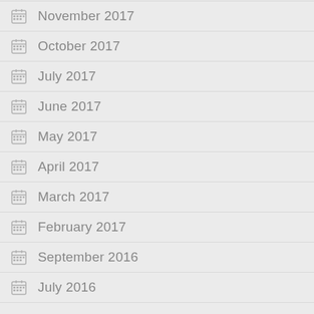November 2017
October 2017
July 2017
June 2017
May 2017
April 2017
March 2017
February 2017
September 2016
July 2016